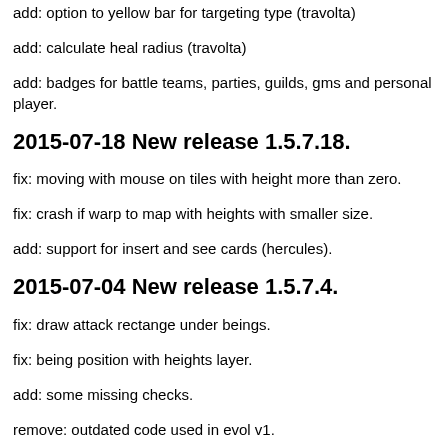add: option to yellow bar for targeting type (travolta)
add: calculate heal radius (travolta)
add: badges for battle teams, parties, guilds, gms and personal player.
2015-07-18 New release 1.5.7.18.
fix: moving with mouse on tiles with height more than zero.
fix: crash if warp to map with heights with smaller size.
add: support for insert and see cards (hercules).
2015-07-04 New release 1.5.7.4.
fix: draw attack rectange under beings.
fix: being position with heights layer.
add: some missing checks.
remove: outdated code used in evol v1.
2015-06-20 New release 1.5.6.20.